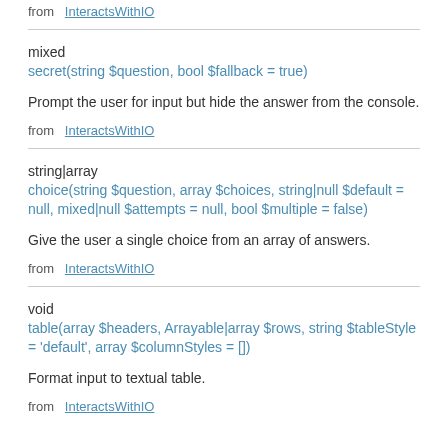from  InteractsWithIO
mixed
secret(string $question, bool $fallback = true)
Prompt the user for input but hide the answer from the console.
from  InteractsWithIO
string|array
choice(string $question, array $choices, string|null $default = null, mixed|null $attempts = null, bool $multiple = false)
Give the user a single choice from an array of answers.
from  InteractsWithIO
void
table(array $headers, Arrayable|array $rows, string $tableStyle = 'default', array $columnStyles = [])
Format input to textual table.
from  InteractsWithIO